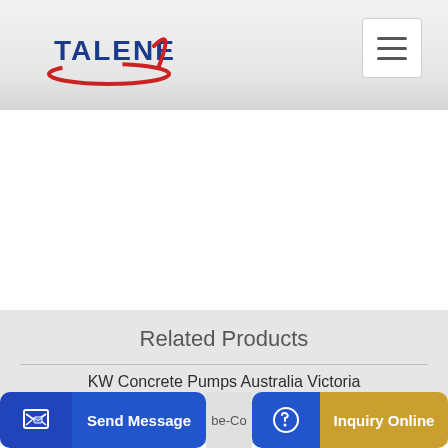TALENET
[Figure (logo): TALENET logo with red swoosh and blue text]
Related Products
KW Concrete Pumps Australia Victoria
Concrete Pump Cemex V1 0
Send Message | Inquiry Online